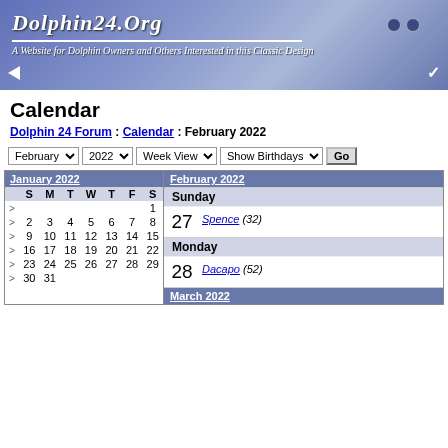[Figure (illustration): Dolphin24.Org website banner with blue gradient background, site title and subtitle]
Calendar
Dolphin 24 Forum : Calendar : February 2022
February 2022 | Week View | Show Birthdays | Go
|  | S | M | T | W | T | F | S |
| --- | --- | --- | --- | --- | --- | --- | --- |
| January 2022 |  |  |  |  |  |  |  |
| > |  |  |  |  |  |  | 1 |
| > | 2 | 3 | 4 | 5 | 6 | 7 | 8 |
| > | 9 | 10 | 11 | 12 | 13 | 14 | 15 |
| > | 16 | 17 | 18 | 19 | 20 | 21 | 22 |
| > | 23 | 24 | 25 | 26 | 27 | 28 | 29 |
| > | 30 | 31 |  |  |  |  |  |
February 2022
Sunday
27 Spence (32)
Monday
28 Dacapo (52)
March 2022